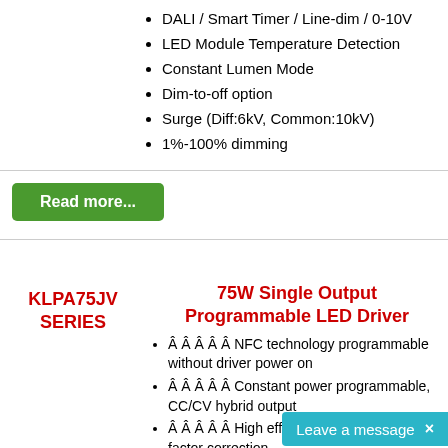DALI / Smart Timer / Line-dim / 0-10V
LED Module Temperature Detection
Constant Lumen Mode
Dim-to-off option
Surge (Diff:6kV, Common:10kV)
1%-100% dimming
Read more...
KLPA75JV SERIES
75W Single Output Programmable LED Driver
Â Â Â Â Â NFC technology programmable without driver power on
Â Â Â Â Â Constant power programmable, CC/CV hybrid output
Â Â Â Â Â High efficiency , active power factor correction
Â Â Â Â Â Ultra low THD at light load
Â Â Â Â Â off option. Pro...
Leave a message  ×